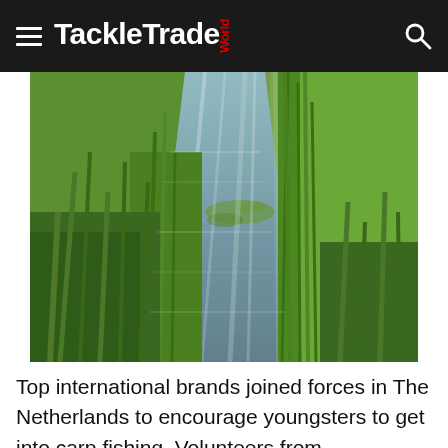TackleTrade World
[Figure (photo): A narrow water channel or drainage ditch flanked by dense green reeds and grass on both sides, with reflections visible on the water surface. The scene appears to be a rural fishing location in The Netherlands.]
Top international brands joined forces in The Netherlands to encourage youngsters to get into carp fishing. Volunteers from sportfishing club De Baroniesche Hengelaars in Breda ran the event with